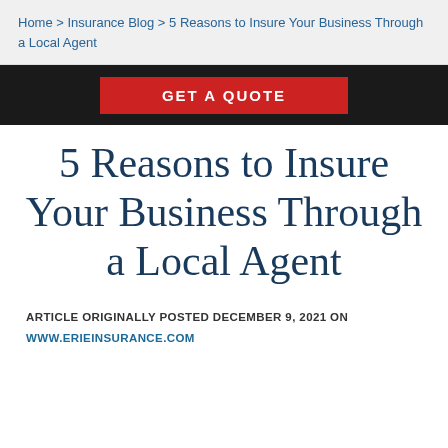Home > Insurance Blog > 5 Reasons to Insure Your Business Through a Local Agent
[Figure (other): Red button banner with text GET A QUOTE on dark background]
5 Reasons to Insure Your Business Through a Local Agent
ARTICLE ORIGINALLY POSTED DECEMBER 9, 2021 ON WWW.ERIEINSURANCE.COM